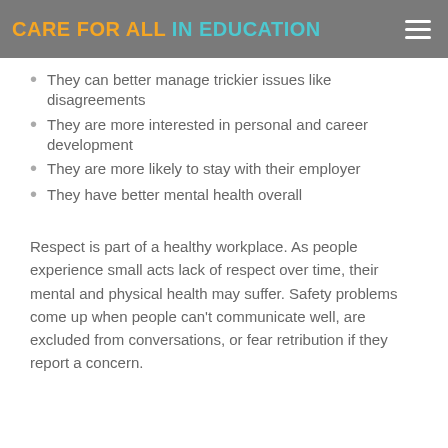CARE FOR ALL IN EDUCATION
They can better manage trickier issues like disagreements
They are more interested in personal and career development
They are more likely to stay with their employer
They have better mental health overall
Respect is part of a healthy workplace. As people experience small acts lack of respect over time, their mental and physical health may suffer. Safety problems come up when people can't communicate well, are excluded from conversations, or fear retribution if they report a concern.